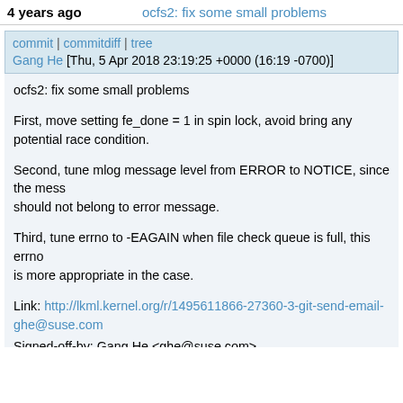4 years ago   ocfs2: fix some small problems
commit | commitdiff | tree
Gang He [Thu, 5 Apr 2018 23:19:25 +0000 (16:19 -0700)]
ocfs2: fix some small problems

First, move setting fe_done = 1 in spin lock, avoid bring any potential race condition.

Second, tune mlog message level from ERROR to NOTICE, since the message should not belong to error message.

Third, tune errno to -EAGAIN when file check queue is full, this errno is more appropriate in the case.

Link: http://lkml.kernel.org/r/1495611866-27360-3-git-send-email-ghe@suse.com
Signed-off-by: Gang He <ghe@suse.com>
Cc: Mark Fasheh <mark@fasheh.com>
Cc: Joel Becker <jlbec@evilplan.org>
Cc: Junxiao Bi <junxiao.bi@oracle.com>
Cc: Joseph Qi <jiangqi903@gmail.com>
Signed-off-by: Andrew Morton <akpm@linux-foundation.org>
Signed-off-by: Linus Torvalds <torvalds@linux-foundation.org>